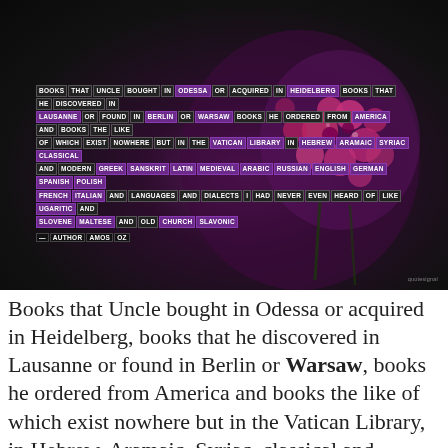[Figure (photo): Dark background with purple/pink flowers (carnations or phlox), overlaid with a typographic quote in white text boxes with dark and purple backgrounds.]
Books that Uncle bought in Odessa or acquired in Heidelberg, books that he discovered in Lausanne or found in Berlin or Warsaw, books he ordered from America and books the like of which exist nowhere but in the Vatican Library, in Hebrew, Aramaic, Syriac, classical and modern Greek, Sanskrit, Latin, medieval